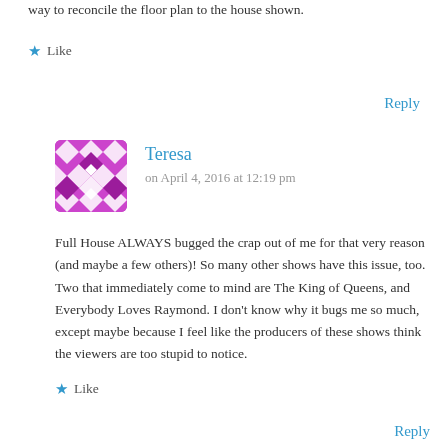way to reconcile the floor plan to the house shown.
★ Like
Reply
[Figure (illustration): Purple and white geometric/diamond pattern avatar for user Teresa]
Teresa
on April 4, 2016 at 12:19 pm
Full House ALWAYS bugged the crap out of me for that very reason (and maybe a few others)! So many other shows have this issue, too. Two that immediately come to mind are The King of Queens, and Everybody Loves Raymond. I don't know why it bugs me so much, except maybe because I feel like the producers of these shows think the viewers are too stupid to notice.
★ Like
Reply